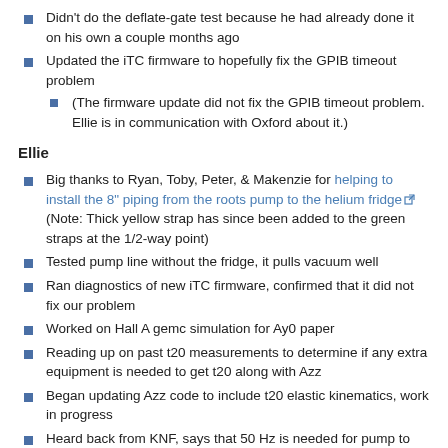Didn't do the deflate-gate test because he had already done it on his own a couple months ago
Updated the iTC firmware to hopefully fix the GPIB timeout problem
(The firmware update did not fix the GPIB timeout problem. Ellie is in communication with Oxford about it.)
Ellie
Big thanks to Ryan, Toby, Peter, & Makenzie for helping to install the 8" piping from the roots pump to the helium fridge (Note: Thick yellow strap has since been added to the green straps at the 1/2-way point)
Tested pump line without the fridge, it pulls vacuum well
Ran diagnostics of new iTC firmware, confirmed that it did not fix our problem
Worked on Hall A gemc simulation for Ay0 paper
Reading up on past t20 measurements to determine if any extra equipment is needed to get t20 along with Azz
Began updating Azz code to include t20 elastic kinematics, work in progress
Heard back from KNF, says that 50 Hz is needed for pump to run as designed
Talked with Maurik and representative from Phoenix Phase Converters (who make 1-phase-to-3-phase converters) about